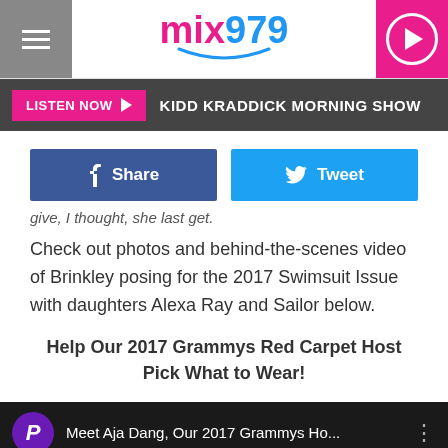mix979 — LISTEN NOW | KIDD KRADDICK MORNING SHOW
give, I thought, she last get.
Check out photos and behind-the-scenes video of Brinkley posing for the 2017 Swimsuit Issue with daughters Alexa Ray and Sailor below.
Help Our 2017 Grammys Red Carpet Host Pick What to Wear!
[Figure (screenshot): Video player bar showing Meet Aja Dang, Our 2017 Grammys Ho... with video thumbnail of woman with blonde hair]